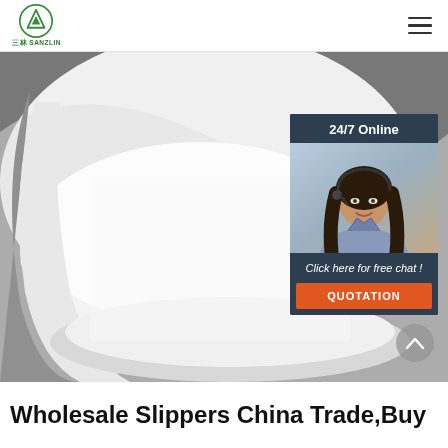[Figure (logo): Sanzlin company logo with green triangular mountain icon and text '三林 SANZLIN']
[Figure (photo): Close-up photo of white rolled nonwoven fabric or textile material on gray background. Overlay chat widget with '24/7 Online' support representative photo, 'Click here for free chat!' text, and orange 'QUOTATION' button.]
Wholesale Slippers China Trade,Buy